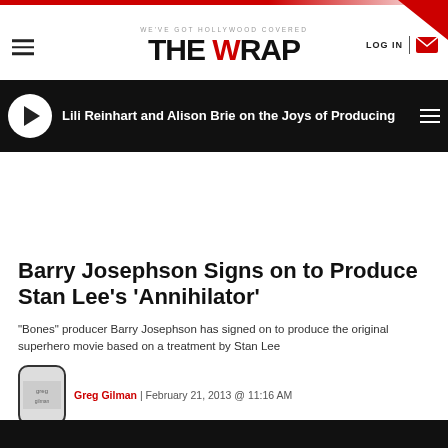WE'VE GOT HOLLYWOOD COVERED — THE WRAP
[Figure (screenshot): Video bar with play button showing: Lili Reinhart and Alison Brie on the Joys of Producing]
Barry Josephson Signs on to Produce Stan Lee's 'Annihilator'
"Bones" producer Barry Josephson has signed on to produce the original superhero movie based on a treatment by Stan Lee
Greg Gilman | February 21, 2013 @ 11:16 AM